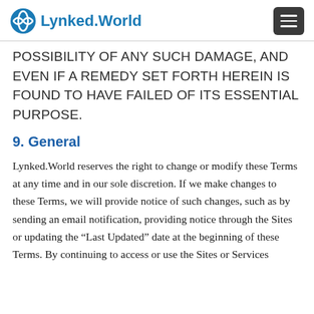Lynked.World
POSSIBILITY OF ANY SUCH DAMAGE, AND EVEN IF A REMEDY SET FORTH HEREIN IS FOUND TO HAVE FAILED OF ITS ESSENTIAL PURPOSE.
9. General
Lynked.World reserves the right to change or modify these Terms at any time and in our sole discretion. If we make changes to these Terms, we will provide notice of such changes, such as by sending an email notification, providing notice through the Sites or updating the “Last Updated” date at the beginning of these Terms. By continuing to access or use the Sites or Services